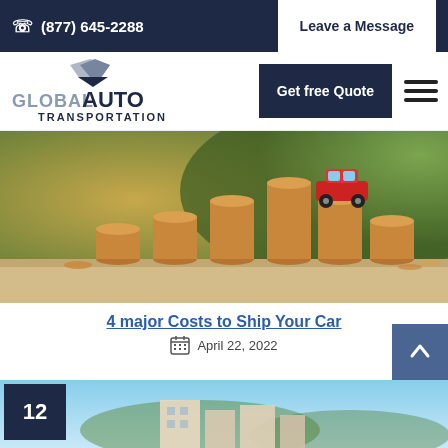(877) 645-2288   Leave a Message
[Figure (logo): Global Auto Transportation logo with mountain/arrow graphic]
Get free Quote
[Figure (photo): Stacked coins in ascending order with a red toy car on top, representing car shipping costs]
4 major Costs to Ship Your Car
April 22, 2022
[Figure (photo): Partial photo of residential area, with number badge 12 overlay]